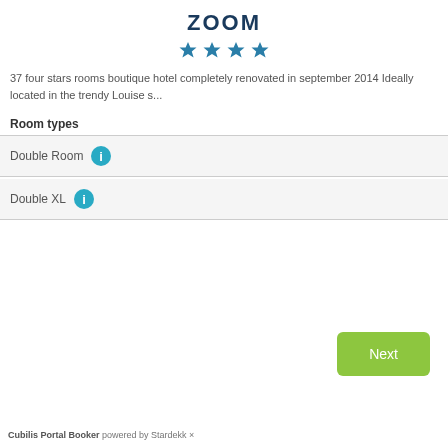ZOOM
[Figure (other): Four teal/dark-blue star icons representing a 4-star hotel rating]
37 four stars rooms boutique hotel completely renovated in september 2014 Ideally located in the trendy Louise s...
Room types
Double Room
Double XL
Cubilis Portal Booker powered by Stardekk ×